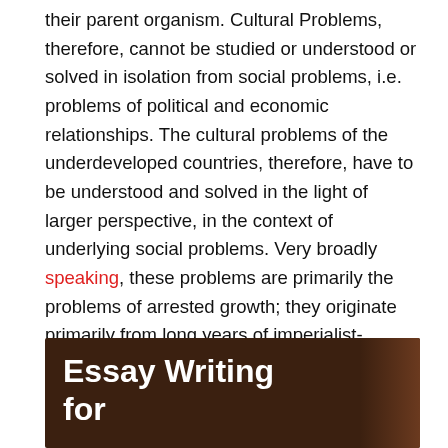their parent organism. Cultural Problems, therefore, cannot be studied or understood or solved in isolation from social problems, i.e. problems of political and economic relationships. The cultural problems of the underdeveloped countries, therefore, have to be understood and solved in the light of larger perspective, in the context of underlying social problems. Very broadly speaking, these problems are primarily the problems of arrested growth; they originate primarily from long years of imperialist-Colonialist domination and the remnants of a backward outmoded social structure.
Also Read: How to Prepare for CSS English Precis and Composition Exam
[Figure (photo): Dark brown book cover image with bold white text reading 'Essay Writing for']